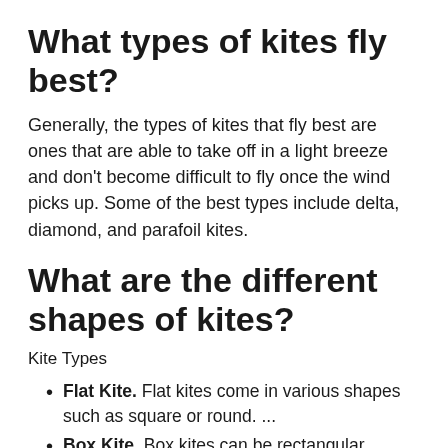What types of kites fly best?
Generally, the types of kites that fly best are ones that are able to take off in a light breeze and don't become difficult to fly once the wind picks up. Some of the best types include delta, diamond, and parafoil kites.
What are the different shapes of kites?
Kite Types
Flat Kite. Flat kites come in various shapes such as square or round. ...
Box Kite. Box kites can be rectangular, hexagonal, tetrahedral or other shapes